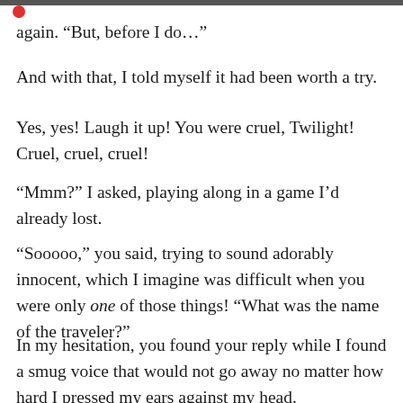again. “But, before I do…”
And with that, I told myself it had been worth a try.
Yes, yes! Laugh it up! You were cruel, Twilight! Cruel, cruel, cruel!
“Mmm?” I asked, playing along in a game I’d already lost.
“Sooooo,” you said, trying to sound adorably innocent, which I imagine was difficult when you were only one of those things! “What was the name of the traveler?”
In my hesitation, you found your reply while I found a smug voice that would not go away no matter how hard I pressed my ears against my head.